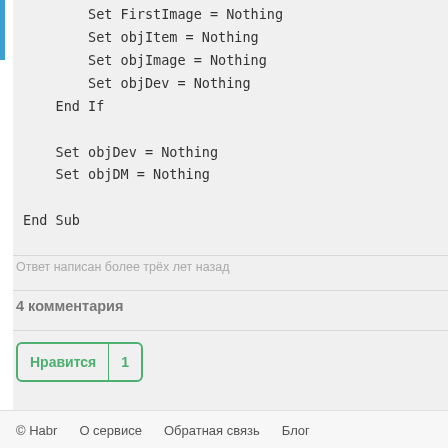Set FirstImage = Nothing
        Set objItem = Nothing
        Set objImage = Nothing
        Set objDev = Nothing
    End If

    Set objDev = Nothing
    Set objDM = Nothing

End Sub
Ответ написан более трёх лет назад
4 комментария
Нравится | 1
© Habr   О сервисе   Обратная связь   Блог